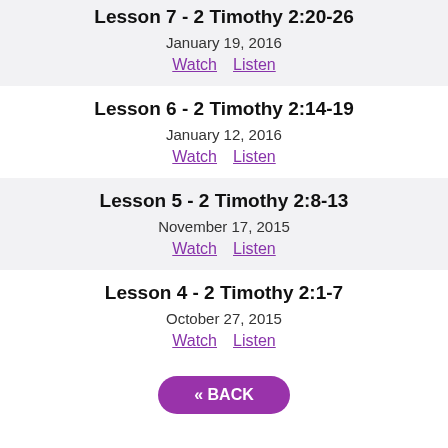Lesson 7 - 2 Timothy 2:20-26
January 19, 2016
Watch   Listen
Lesson 6 - 2 Timothy 2:14-19
January 12, 2016
Watch   Listen
Lesson 5 - 2 Timothy 2:8-13
November 17, 2015
Watch   Listen
Lesson 4 - 2 Timothy 2:1-7
October 27, 2015
Watch   Listen
« BACK